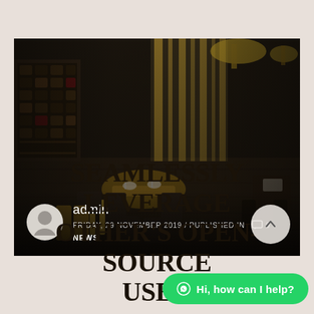[Figure (photo): Restaurant interior photo showing dining tables with wooden chairs, dark ambiance, wine rack on the left wall, golden curtain dividers, pendant lights]
admin
FRIDAY, 29 NOVEMBER 2019 / PUBLISHED IN
NEWS
SEAMLESSLY LEVERAGE OTHER'S OPEN-SOURCE USER